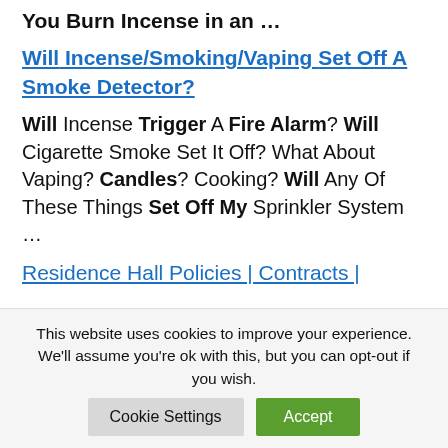...You Burn Incense in an ...
Will Incense/Smoking/Vaping Set Off A Smoke Detector?
Will Incense Trigger A Fire Alarm? Will Cigarette Smoke Set It Off? What About Vaping? Candles? Cooking? Will Any Of These Things Set Off My Sprinkler System ...
Residence Hall Policies | Contracts |
This website uses cookies to improve your experience. We'll assume you're ok with this, but you can opt-out if you wish.